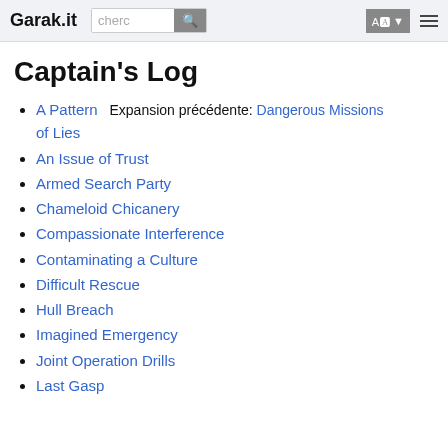Garak.it
Captain's Log
A Pattern of Lies  Expansion précédente: Dangerous Missions
An Issue of Trust
Armed Search Party
Chameloid Chicanery
Compassionate Interference
Contaminating a Culture
Difficult Rescue
Hull Breach
Imagined Emergency
Joint Operation Drills
Last Gasp